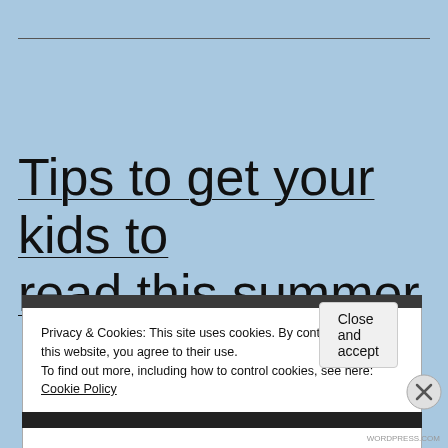Tips to get your kids to read this summer
Privacy & Cookies: This site uses cookies. By continuing to use this website, you agree to their use.
To find out more, including how to control cookies, see here: Cookie Policy
Close and accept